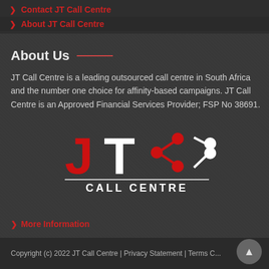Contact JT Call Centre
About JT Call Centre
About Us
JT Call Centre is a leading outsourced call centre in South Africa and the number one choice for affinity-based campaigns. JT Call Centre is an Approved Financial Services Provider; FSP No 38691.
[Figure (logo): JT Call Centre logo with red and white stylized letters JT and connectivity icon, with CALL CENTRE text below]
More Information
Copyright (c) 2022 JT Call Centre | Privacy Statement | Terms C...